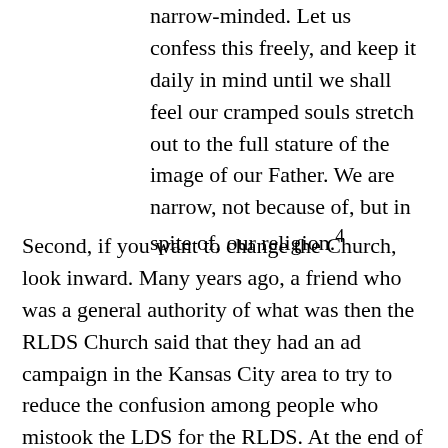narrow-minded. Let us confess this freely, and keep it daily in mind until we shall feel our cramped souls stretch out to the full stature of the image of our Father. We are narrow, not because of, but in spite of, our religion.4
Second, if you want to change the Church, look inward. Many years ago, a friend who was a general authority of what was then the RLDS Church said that they had an ad campaign in the Kansas City area to try to reduce the confusion among people who mistook the LDS for the RLDS. At the end of each TV ad was a voice-over that said, “The Reorganized Church of Jesus Christ of Latter Day Saints: We’re not who you think we are.” The week after the campaign